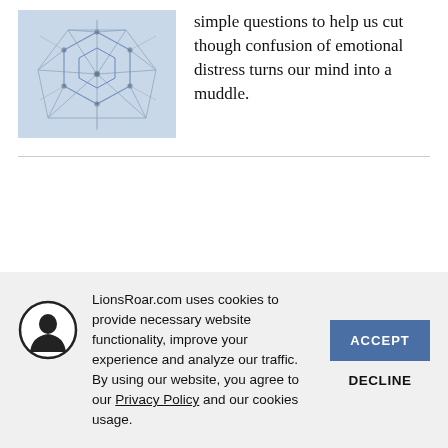[Figure (illustration): Abstract network/neural structure image showing interconnected hexagonal nodes with lines, in light blue-gray tones.]
simple questions to help us cut though confusion of emotional distress turns our mind into a muddle.
LionsRoar.com uses cookies to provide necessary website functionality, improve your experience and analyze our traffic. By using our website, you agree to our Privacy Policy and our cookies usage.